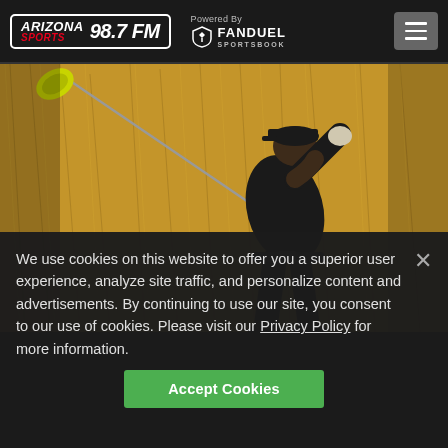Arizona Sports 98.7 FM — Powered By FanDuel Sportsbook
[Figure (photo): A golfer in all-black attire and black cap completing a follow-through swing, with a golden club visible at the top-left, surrounded by dry grass/rough in the background.]
We use cookies on this website to offer you a superior user experience, analyze site traffic, and personalize content and advertisements. By continuing to use our site, you consent to our use of cookies. Please visit our Privacy Policy for more information.
Accept Cookies